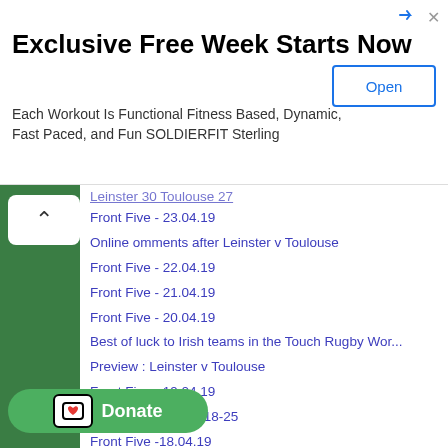[Figure (infographic): Advertisement banner: 'Exclusive Free Week Starts Now' with subtitle 'Each Workout Is Functional Fitness Based, Dynamic, Fast Paced, and Fun SOLDIERFIT Sterling' and an 'Open' button]
Leinster 30 Toulouse 27 (partially visible)
Front Five - 23.04.19
Online omments after Leinster v Toulouse
Front Five - 22.04.19
Front Five - 21.04.19
Front Five - 20.04.19
Best of luck to Irish teams in the Touch Rugby Wor...
Preview : Leinster v Toulouse
Front Five - 19.04.19
Rugby on TV : Apr 18-25
Front Five -18.04.19
Front Five - 17.04.19
Front Five - 16.04.19
...24 Glasgow Warriors-39
...ve - 15.04.19
Front Five - 14.04.19